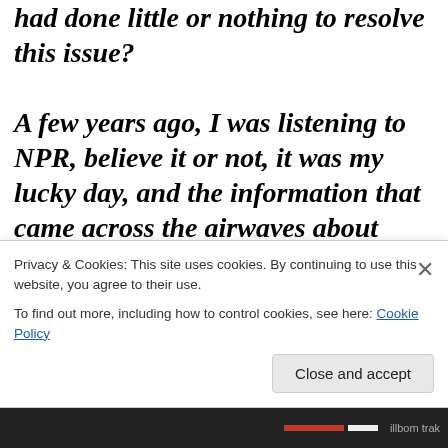weeks and the Nigerian Government had done little or nothing to resolve this issue?

A few years ago, I was listening to NPR, believe it or not, it was my lucky day, and the information that came across the airwaves about Nigeria was daunting to say the least, then a few years before that, the Women protested topless against the Oil Moguls, then
Privacy & Cookies: This site uses cookies. By continuing to use this website, you agree to their use.
To find out more, including how to control cookies, see here: Cookie Policy
Close and accept
illbom trak